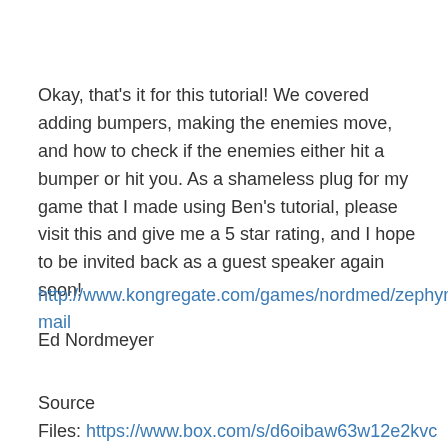Okay, that's it for this tutorial! We covered adding bumpers, making the enemies move, and how to check if the enemies either hit a bumper or hit you. As a shameless plug for my game that I made using Ben's tutorial, please visit this and give me a 5 star rating, and I hope to be invited back as a guest speaker again soon!
http://www.kongregate.com/games/nordmed/zephyr-mail
Ed Nordmeyer
Source
Files: https://www.box.com/s/d6oibaw63w12e2kvcmsx